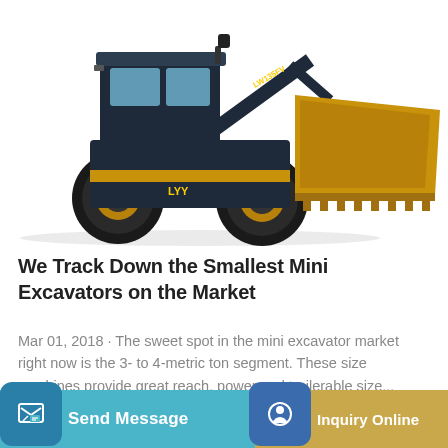[Figure (photo): Front loader / mini excavator (LW135FV) with yellow bucket raised, shown on white background. Machine is dark blue/black and yellow.]
We Track Down the Smallest Mini Excavators on the Market
Mar 01, 2018 · The sweet spot in the mini excavator market right now is the 3- to 4-metric ton segment. These size machines provide great reach, power and trailerable size...
Send Message
Inquiry Online